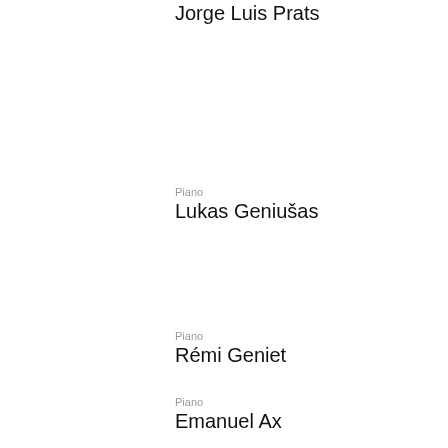Jorge Luis Prats
Till Felln
Piano
Lukas Geniušas
Piano
Haochen
Piano
Rémi Geniet
Piano
Jean-Ph
Piano
Emanuel Ax
Piano
Boris Be